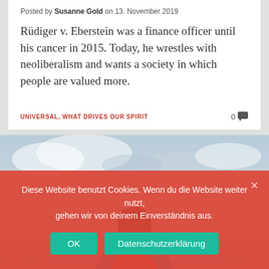Posted by Susanne Gold on 13. November 2019
Rüdiger v. Eberstein was a finance officer until his cancer in 2015. Today, he wrestles with neoliberalism and wants a society in which people are valued more.
UNIVERSAL, WHAT DRIVES OUR SPIRIT
[Figure (photo): Partial photo of a person with dark hair wearing a teal/red jacket, cloudy sky background. Partially obscured by cookie consent banner.]
Diese Website benutzt Cookies. Wenn du die Website weiter nutzt, gehen wir von deinem Einverständnis aus.